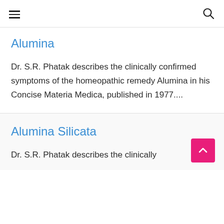Alumina
Dr. S.R. Phatak describes the clinically confirmed symptoms of the homeopathic remedy Alumina in his Concise Materia Medica, published in 1977....
Alumina Silicata
Dr. S.R. Phatak describes the clinically